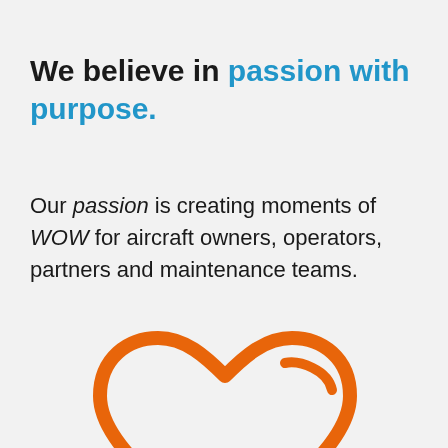We believe in passion with purpose.
Our passion is creating moments of WOW for aircraft owners, operators, partners and maintenance teams.
[Figure (illustration): Orange outline heart icon with a small curved line detail in the upper right portion of the heart]